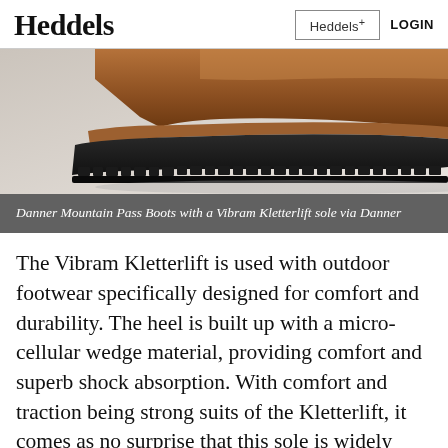Heddels | Heddels+ | LOGIN
[Figure (photo): Close-up of the sole of Danner Mountain Pass Boots showing the Vibram Kletterlift sole with brown leather upper and black lugged rubber outsole on a light background.]
Danner Mountain Pass Boots with a Vibram Kletterlift sole via Danner
The Vibram Kletterlift is used with outdoor footwear specifically designed for comfort and durability. The heel is built up with a micro-cellular wedge material, providing comfort and superb shock absorption. With comfort and traction being strong suits of the Kletterlift, it comes as no surprise that this sole is widely used by Danner on the brand's Mountain boot range.